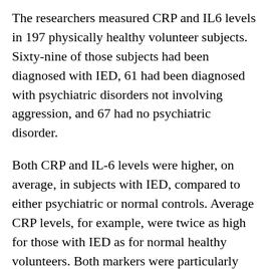The researchers measured CRP and IL6 levels in 197 physically healthy volunteer subjects. Sixty-nine of those subjects had been diagnosed with IED, 61 had been diagnosed with psychiatric disorders not involving aggression, and 67 had no psychiatric disorder.
Both CRP and IL-6 levels were higher, on average, in subjects with IED, compared to either psychiatric or normal controls. Average CRP levels, for example, were twice as high for those with IED as for normal healthy volunteers. Both markers were particularly elevated in subjects who had the most extensive histories of aggressive behaviors. Each marker independently correlated with aggression, the authors note, suggesting that "both have unique relations with aggression."
Earlier studies have pointed to connections between an inflammatory response and depression or stress, said